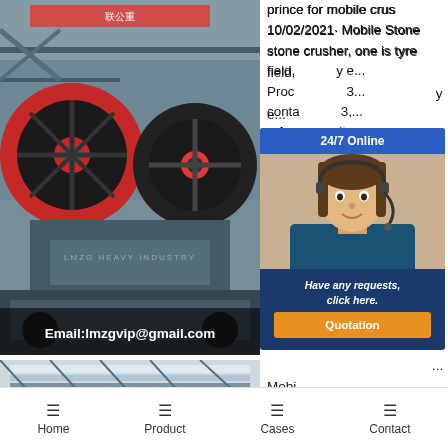[Figure (photo): Industrial jaw crusher machine in a factory, with large red and black flywheels, steel frame structure, industrial setting with Chinese signage in background. Email overlay: Email:lmzgvip@gmail.com]
[Figure (photo): Large industrial factory interior with overhead cranes, steel roof trusses, fluorescent lighting, and heavy machinery/crushers on the floor. Email overlay: Email:lmzgvip@gmail.com]
prince for mobile crus... 10/02/2021· Mobile Stone stone crusher, one is tyre field, ... y e... Proc... 3... conta... 3,... refer... it... Mob... Mobi... su... used... on... savi... in... Crus... ru... crushing solution designe... reducing your material
[Figure (infographic): 24/7 Online chat widget with customer service representative photo, 'Have any requests, click here.' text, and orange Quotation button]
[Figure (photo): Partial view of blue machinery/equipment at bottom left]
prince prince for mobil...
Home   Product   Cases   Contact